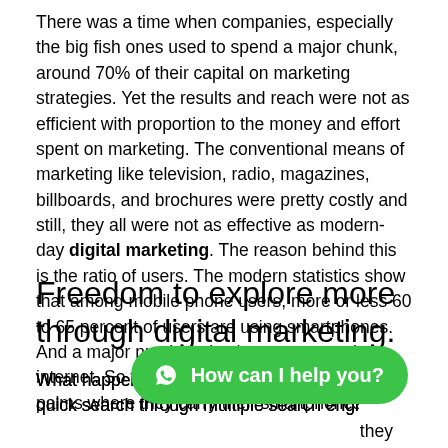There was a time when companies, especially the big fish ones used to spend a major chunk, around 70% of their capital on marketing strategies. Yet the results and reach were not as efficient with proportion to the money and effort spent on marketing. The conventional means of marketing like television, radio, magazines, billboards, and brochures were pretty costly and still, they all were not as effective as modern-day digital marketing. The reason behind this is the ratio of users. The modern statistics show that among mobile phone users, more or less 60 to 65 percent of users are using smartphones. And a major number also has access to the internet. So the whole world has shrunk to their palms where they carry their smartphones.
Freedom to explore more through digital marketing.
What happens now is that the users make a quick search through multiple search engines for what they want and they are looking for. They get to see a list of options with similar products and services along with the substitutes that allow them to make comparisons and finally select the
[Figure (other): WhatsApp chat button with green background showing a WhatsApp icon and text 'How can I help you?']